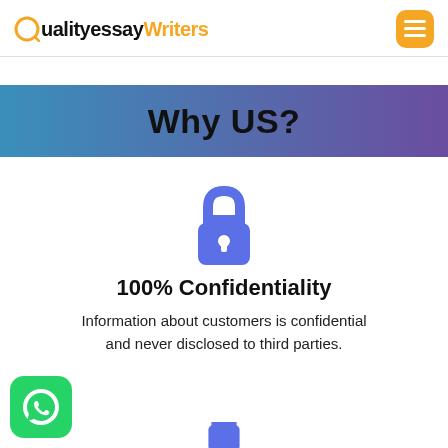QualityessayWriters
Why US?
[Figure (illustration): Blue padlock icon representing confidentiality]
100% Confidentiality
Information about customers is confidential and never disclosed to third parties.
[Figure (logo): WhatsApp green button icon in bottom left corner]
[Figure (illustration): Partial blue padlock icon at bottom center, partially cut off]